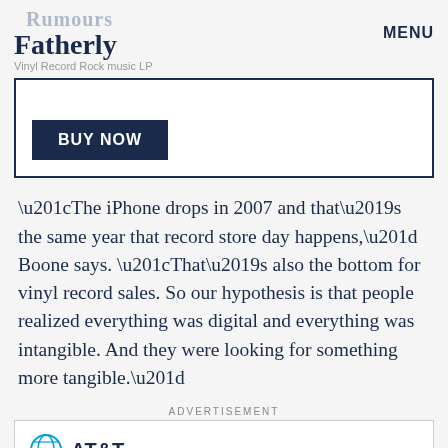Rumours
Fatherly
Vinyl Record Rock music LP
MENU
[Figure (other): Product box with BUY NOW button, bordered in navy blue]
“The iPhone drops in 2007 and that’s the same year that record store day happens,” Boone says. “That’s also the bottom for vinyl record sales. So our hypothesis is that people realized everything was digital and everything was intangible. And they were looking for something more tangible.”
ADVERTISEMENT
[Figure (logo): AT&T logo with globe icon and AT&T text]